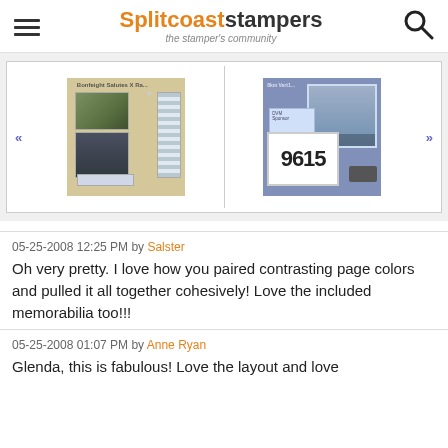Splitcoaststampers — the stamper's community
[Figure (photo): Gallery strip showing two scrapbook layout pages side by side with navigation arrows. Left page shows a scrapbook with nature/outdoor photos and striped elements. Right page shows a race bib numbered 9615 with marathon photos and memorabilia.]
05-25-2008 12:25 PM by Salster
Oh very pretty. I love how you paired contrasting page colors and pulled it all together cohesively! Love the included memorabilia too!!!
05-25-2008 01:07 PM by Anne Ryan
Glenda, this is fabulous! Love the layout and love